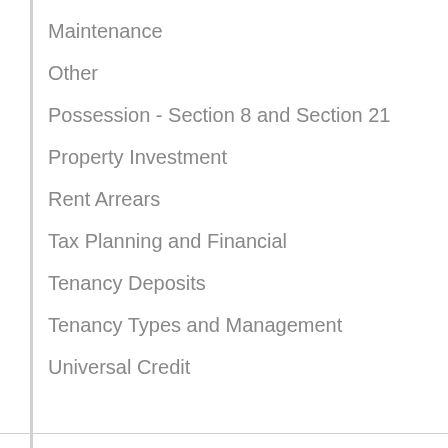Maintenance
Other
Possession - Section 8 and Section 21
Property Investment
Rent Arrears
Tax Planning and Financial
Tenancy Deposits
Tenancy Types and Management
Universal Credit